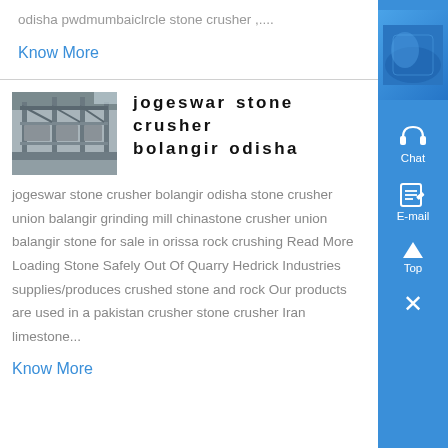odisha pwdmumbaiclrcle stone crusher ,...
Know More
jogeswar stone crusher bolangir odisha
[Figure (photo): Industrial metal structure/conveyor inside a stone crusher facility, viewed from inside the building]
jogeswar stone crusher bolangir odisha stone crusher union balangir grinding mill chinastone crusher union balangir stone for sale in orissa rock crushing Read More Loading Stone Safely Out Of Quarry Hedrick Industries supplies/produces crushed stone and rock Our products are used in a pakistan crusher stone crusher Iran limestone...
Know More